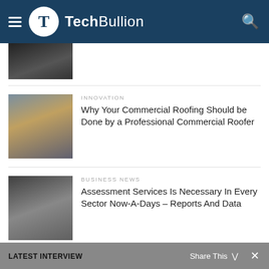TechBullion
[Figure (photo): Partial article thumbnail showing a person, cropped at top]
[Figure (photo): Workers in hard hats on a commercial roof]
INNOVATION
Why Your Commercial Roofing Should be Done by a Professional Commercial Roofer
[Figure (photo): Business professionals looking at a phone or tablet in a meeting]
BUSINESS NEWS
Assessment Services Is Necessary In Every Sector Now-A-Days – Reports And Data
LIKE US ON FACEBOOK
LATEST INTERVIEW   Share This   ✕